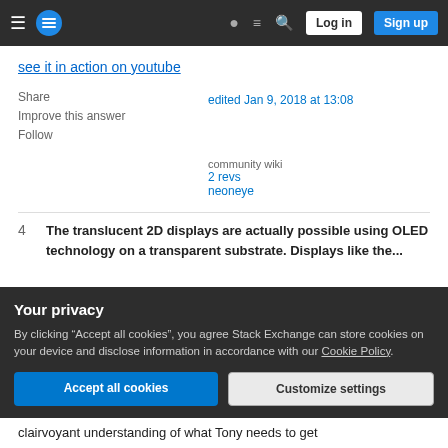Stack Exchange navigation bar with Log in and Sign up buttons
see it in action on youtube
Share
Improve this answer
Follow
edited Jan 9, 2018 at 13:08
community wiki
2 revs
neoneye
4   The translucent 2D displays are actually possible using OLED technology on a transparent substrate. Displays like the...
Your privacy
By clicking "Accept all cookies", you agree Stack Exchange can store cookies on your device and disclose information in accordance with our Cookie Policy.
Accept all cookies   Customize settings
clairvoyant understanding of what Tony needs to get